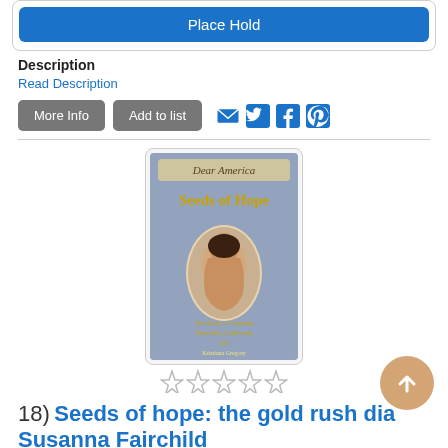Place Hold
Description
Read Description
More Info | Add to list
[Figure (illustration): Book cover for 'Seeds of Hope: The Gold Rush Diary of Susanna Fairchild' from the Dear America series, showing a portrait of a young woman in an oval frame against a blue-gray background]
☆☆☆☆☆ (5 empty stars rating)
18) Seeds of hope: the gold rush dia... Susanna Fairchild
Author
Gregory, Kristiana